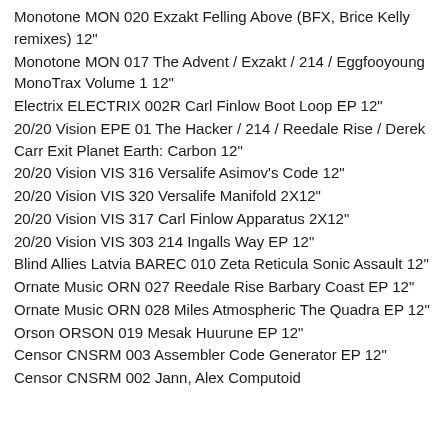Monotone MON 020 Exzakt Felling Above (BFX, Brice Kelly remixes) 12"
Monotone MON 017 The Advent / Exzakt / 214 / Eggfooyoung MonoTrax Volume 1 12"
Electrix ELECTRIX 002R Carl Finlow Boot Loop EP 12"
20/20 Vision EPE 01 The Hacker / 214 / Reedale Rise / Derek Carr Exit Planet Earth: Carbon 12"
20/20 Vision VIS 316 Versalife Asimov's Code 12"
20/20 Vision VIS 320 Versalife Manifold 2X12"
20/20 Vision VIS 317 Carl Finlow Apparatus 2X12"
20/20 Vision VIS 303 214 Ingalls Way EP 12"
Blind Allies Latvia BAREC 010 Zeta Reticula Sonic Assault 12"
Ornate Music ORN 027 Reedale Rise Barbary Coast EP 12"
Ornate Music ORN 028 Miles Atmospheric The Quadra EP 12"
Orson ORSON 019 Mesak Huurune EP 12"
Censor CNSRM 003 Assembler Code Generator EP 12"
Censor CNSRM 002 Jann, Alex Computoid